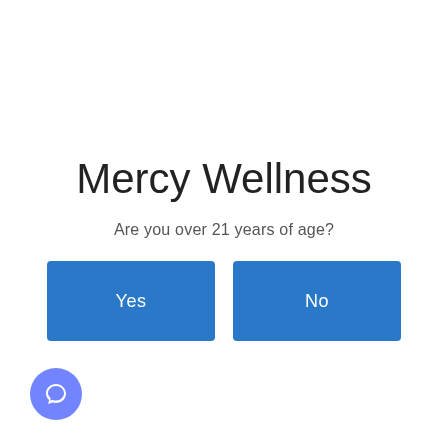Mercy Wellness
Are you over 21 years of age?
[Figure (screenshot): Two blue rectangular buttons side by side labeled 'Yes' and 'No']
[Figure (other): Blue circular chat/help button in the bottom-left corner]